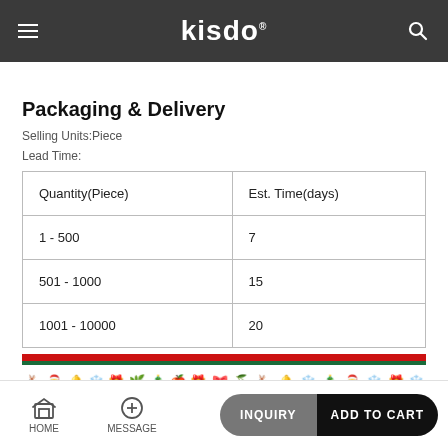Kisdo
Packaging & Delivery
Selling Units:Piece
Lead Time:
| Quantity(Piece) | Est. Time(days) |
| --- | --- |
| 1 - 500 | 7 |
| 501 - 1000 | 15 |
| 1001 - 10000 | 20 |
[Figure (illustration): Christmas decorative banner strip with red and green stripes and holiday icons]
HOME  MESSAGE  INQUIRY  ADD TO CART